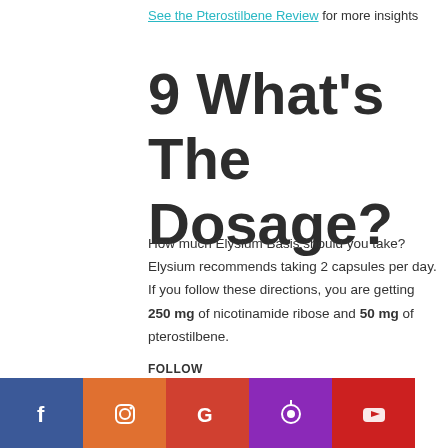See the Pterostilbene Review for more insights
9 What's The Dosage?
How much Elysium Basis should you take? Elysium recommends taking 2 capsules per day. If you follow these directions, you are getting 250 mg of nicotinamide ribose and 50 mg of pterostilbene.
FOLLOW